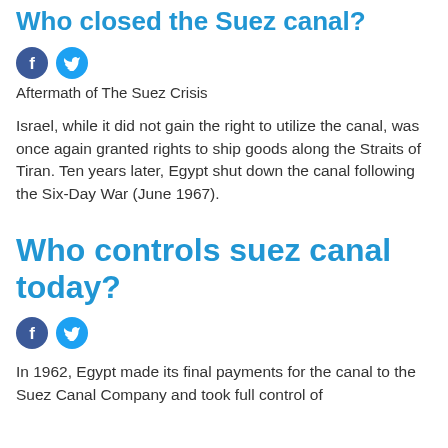Who closed the Suez canal?
[Figure (logo): Facebook and Twitter social share icons]
Aftermath of The Suez Crisis
Israel, while it did not gain the right to utilize the canal, was once again granted rights to ship goods along the Straits of Tiran. Ten years later, Egypt shut down the canal following the Six-Day War (June 1967).
Who controls suez canal today?
[Figure (logo): Facebook and Twitter social share icons]
In 1962, Egypt made its final payments for the canal to the Suez Canal Company and took full control of